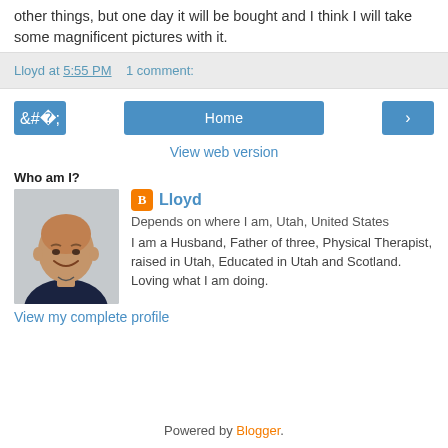other things, but one day it will be bought and I think I will take some magnificent pictures with it.
Lloyd at 5:55 PM    1 comment:
[Figure (screenshot): Navigation row with left arrow button, Home button, and right arrow button in blue]
View web version
Who am I?
[Figure (photo): Profile photo of a bald man smiling, wearing a dark shirt]
Lloyd
Depends on where I am, Utah, United States
I am a Husband, Father of three, Physical Therapist, raised in Utah, Educated in Utah and Scotland. Loving what I am doing.
View my complete profile
Powered by Blogger.